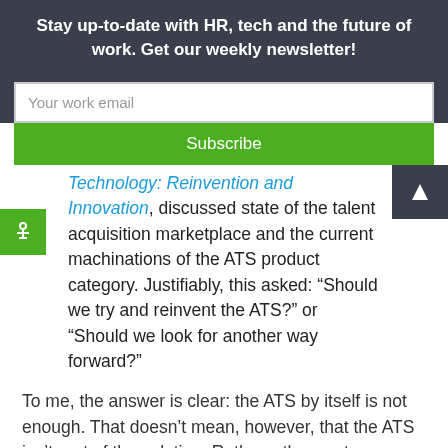Stay up-to-date with HR, tech and the future of work. Get our weekly newsletter!
Your work email
Subscribe
Technology: Reinvention and Innovation, discussed state of the talent acquisition marketplace and the current machinations of the ATS product category. Justifiably, this asked: “Should we try and reinvent the ATS?” or “Should we look for another way forward?”
To me, the answer is clear: the ATS by itself is not enough. That doesn’t mean, however, that the ATS isn’t part of the solution. Rather, other systems are emerging that can help make the ATS better—ones purposely built for the coming realities our industry will be facing.
The Consumerization Of The Candidate Experience